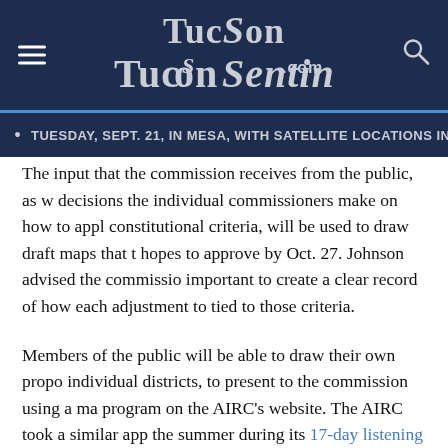TucsonSentinel.com
TUESDAY, SEPT. 21, IN MESA, WITH SATELLITE LOCATIONS IN YUMA AND WIND…
The input that the commission receives from the public, as well as the decisions the individual commissioners make on how to apply constitutional criteria, will be used to draw draft maps that the commission hopes to approve by Oct. 27. Johnson advised the commission that it is important to create a clear record of how each adjustment to the maps is tied to those criteria.
Members of the public will be able to draw their own proposed individual districts, to present to the commission using a mapping program on the AIRC's website. The AIRC took a similar approach over the summer during its 17-day listening tour with a program that allowed people to map out their communities of interest, a wide-ranging term used to describe a group of people with similar interests or m…